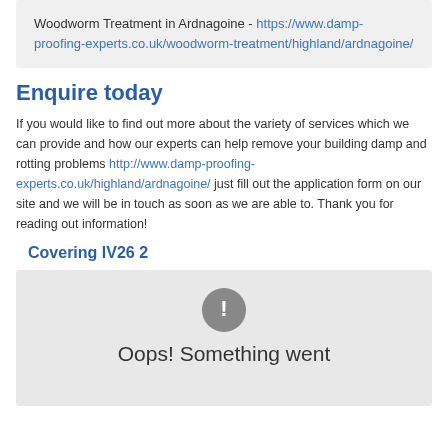Woodworm Treatment in Ardnagoine - https://www.damp-proofing-experts.co.uk/woodworm-treatment/highland/ardnagoine/
Enquire today
If you would like to find out more about the variety of services which we can provide and how our experts can help remove your building damp and rotting problems http://www.damp-proofing-experts.co.uk/highland/ardnagoine/ just fill out the application form on our site and we will be in touch as soon as we are able to. Thank you for reading out information!
Covering IV26 2
[Figure (screenshot): Map placeholder showing error icon and 'Oops! Something went' text]